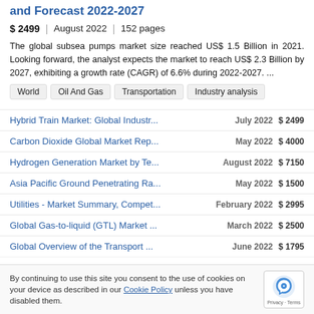and Forecast 2022-2027
$ 2499  |  August 2022  |  152 pages
The global subsea pumps market size reached US$ 1.5 Billion in 2021. Looking forward, the analyst expects the market to reach US$ 2.3 Billion by 2027, exhibiting a growth rate (CAGR) of 6.6% during 2022-2027. ...
World
Oil And Gas
Transportation
Industry analysis
Hybrid Train Market: Global Industr...  July 2022  $ 2499
Carbon Dioxide Global Market Rep...  May 2022  $ 4000
Hydrogen Generation Market by Te...  August 2022  $ 7150
Asia Pacific Ground Penetrating Ra...  May 2022  $ 1500
Utilities - Market Summary, Compet...  February 2022  $ 2995
Global Gas-to-liquid (GTL) Market ...  March 2022  $ 2500
Global Overview of the Transport ...  June 2022  $ 1795
Qatar Projects H1 2022 - Outlook...  March 2022
By continuing to use this site you consent to the use of cookies on your device as described in our Cookie Policy unless you have disabled them.